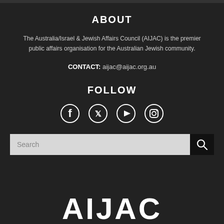ABOUT
The Australia/Israel & Jewish Affairs Council (AIJAC) is the premier public affairs organisation for the Australian Jewish community.
CONTACT: aijac@aijac.org.au
FOLLOW
[Figure (infographic): Social media icons: Facebook, Twitter, YouTube, Instagram]
[Figure (infographic): Search bar with text input and search button]
AIJAC